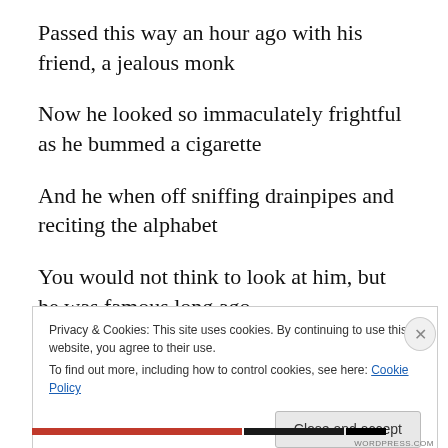Passed this way an hour ago with his friend, a jealous monk
Now he looked so immaculately frightful as he bummed a cigarette
And he when off sniffing drainpipes and reciting the alphabet
You would not think to look at him, but he was famous long ago
Privacy & Cookies: This site uses cookies. By continuing to use this website, you agree to their use.
To find out more, including how to control cookies, see here: Cookie Policy
Close and accept